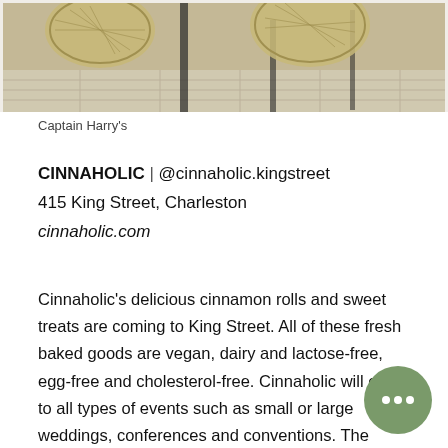[Figure (photo): Partial view of restaurant chairs and tables at Captain Harry's, with rattan-style chairs visible from above]
Captain Harry's
CINNAHOLIC | @cinnaholic.kingstreet
415 King Street, Charleston
cinnaholic.com
Cinnaholic's delicious cinnamon rolls and sweet treats are coming to King Street. All of these fresh baked goods are vegan, dairy and lactose-free, egg-free and cholesterol-free. Cinnaholic will cater to all types of events such as small or large weddings, conferences and conventions. The official opening date has be announced, but is coming soon.